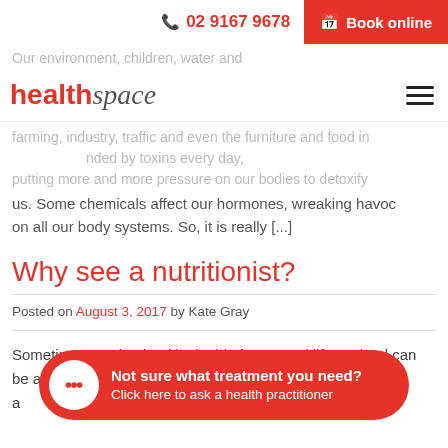📞 02 9167 9678   📅 Book online
[Figure (logo): healthspace logo and hamburger menu nav bar]
Our environment, children, water and ... farming, industry, traffic and even the furniture and food in ... surrounded by toxins every day, putting more and more pressure on our bodies to detoxify us. Some chemicals affect our hormones, wreaking havoc on all our body systems. So, it is really [...]
Why see a nutritionist?
Posted on August 3, 2017 by Kate Gray
Sometimes staying healthy in this fast-paced life we lead can be a struggle. Poor gut habit, poor digestion, or irritable a... illness has be... or perhaps it's just annoying. Sometimes a trip to the
Not sure what treatment you need? Click here to ask a health practitioner